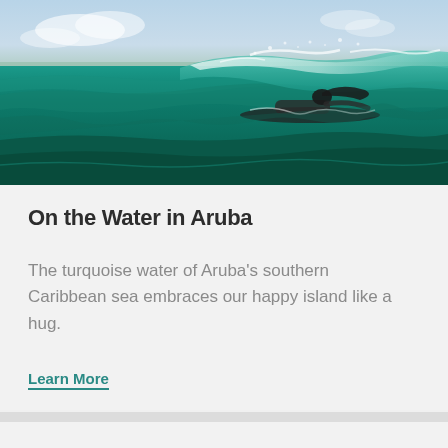[Figure (photo): Woman paddling on a surfboard through turquoise Caribbean waves, water splashing around her, with a distant coastline visible on the horizon under a partly cloudy sky.]
On the Water in Aruba
The turquoise water of Aruba's southern Caribbean sea embraces our happy island like a hug.
Learn More